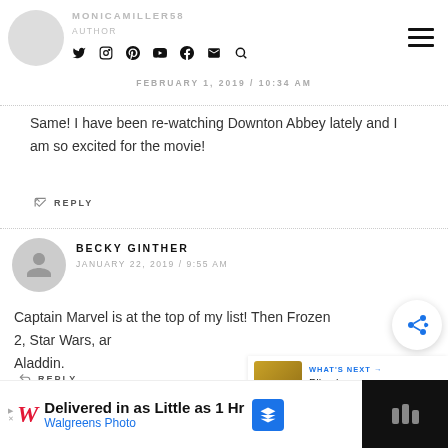MONICAMILLER58 | FEBRUARY 1, 2019 / 10:34 AM
Same! I have been re-watching Downton Abbey lately and I am so excited for the movie!
↩ REPLY
BECKY GINTHER
JANUARY 22, 2019 / 9:55 AM
Captain Marvel is at the top of my list! Then Frozen 2, Star Wars, and Aladdin.
↩ REPLY
WHAT'S NEXT → Pikachu Cupcakes wi...
[Figure (screenshot): Walgreens Photo advertisement: Delivered in as Little as 1 Hr, Walgreens Photo]